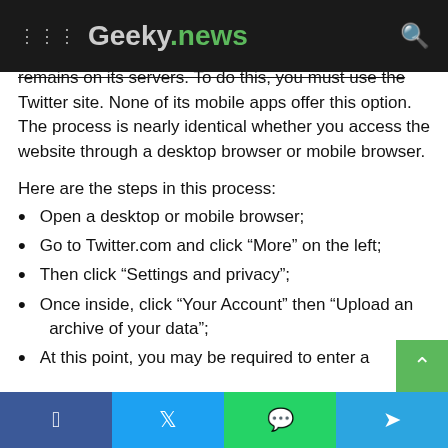Geeky.news
remains on its servers. To do this, you must use the Twitter site. None of its mobile apps offer this option. The process is nearly identical whether you access the website through a desktop browser or mobile browser.
Here are the steps in this process:
Open a desktop or mobile browser;
Go to Twitter.com and click “More” on the left;
Then click “Settings and privacy”;
Once inside, click “Your Account” then “Upload an archive of your data”;
At this point, you may be required to enter a